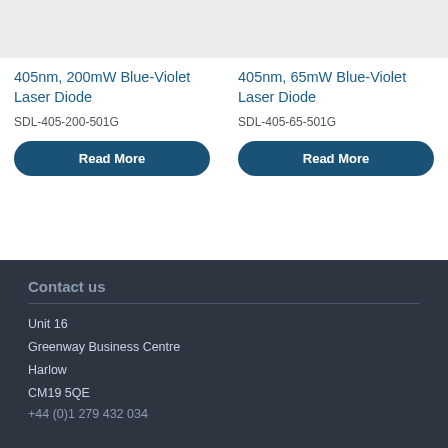[Figure (photo): Laser diode product image (top, partially cropped) - left product]
[Figure (photo): Laser diode product image (top, partially cropped) - right product]
405nm, 200mW Blue-Violet Laser Diode
405nm, 65mW Blue-Violet Laser Diode
SDL-405-200-501G
SDL-405-65-501G
Read More
Read More
Contact us
Unit 16
Greenway Business Centre
Harlow
CM19 5QE